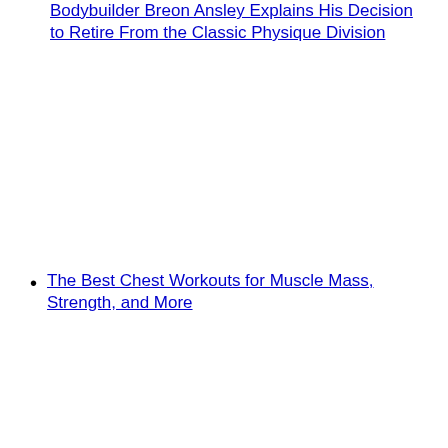Bodybuilder Breon Ansley Explains His Decision to Retire From the Classic Physique Division
The Best Chest Workouts for Muscle Mass, Strength, and More